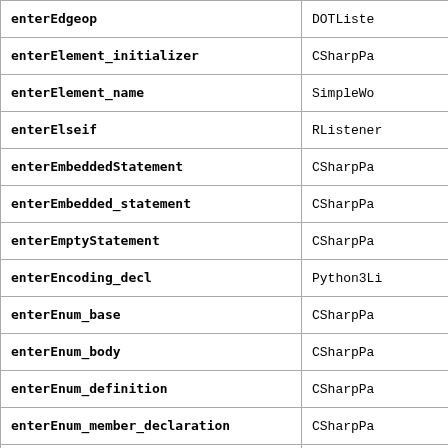| Method | Class |
| --- | --- |
| enterEdgeop | DOTListe |
| enterElement_initializer | CSharpPa |
| enterElement_name | SimpleWo |
| enterElseif | RListener |
| enterEmbeddedStatement | CSharpPa |
| enterEmbedded_statement | CSharpPa |
| enterEmptyStatement | CSharpPa |
| enterEncoding_decl | Python3Li |
| enterEnum_base | CSharpPa |
| enterEnum_body | CSharpPa |
| enterEnum_definition | CSharpPa |
| enterEnum_member_declaration | CSharpPa |
| enterEquality_expression | CSharpPa |
| enterError | SQLiteLis |
| enterError_message | SQLiteLis |
| enterError_message | SQLitePar |
| enterEval_expr | PigListene |